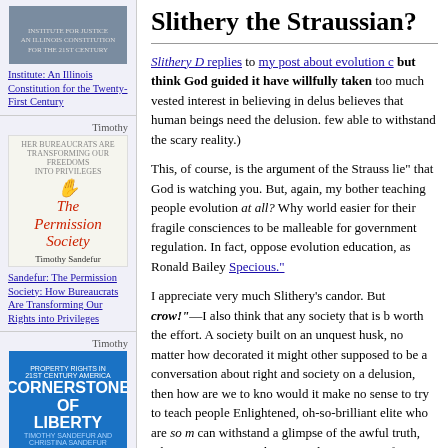[Figure (photo): Book cover image for Illinois Constitution book, gray/blue tones]
Institute: An Illinois Constitution for the Twenty-First Century
Timothy
[Figure (photo): Book cover: The Permission Society by Timothy Sandefur, black and white hands illustration on light background]
Sandefur: The Permission Society: How Bureaucrats Are Transforming Our Rights into Privileges
[Figure (photo): Book cover: Cornerstone of Liberty, blue cover with red houses at bottom]
Timothy
Sandefur and Christina Sandefur:
Slithery the Straussian?
Slithery D replies to my post about evolution c but think God guided it have willfully taken too much vested interest in believing in delus believes that human beings need the delusion. few able to withstand the scary reality.)
This, of course, is the argument of the Strauss lie" that God is watching you. But, again, my bother teaching people evolution at all? Why world easier for their fragile consciences to be malleable for government regulation. In fact, oppose evolution education, as Ronald Bailey Specious."
I appreciate very much Slithery's candor. But crow!"—I also think that any society that is b worth the effort. A society built on an unquest husk, no matter how decorated it might other supposed to be a conversation about right and society on a delusion, then how are we to kno would it make no sense to try to teach people Enlightened, oh-so-brilliant elite who are so m can withstand a glimpse of the awful truth, wh—even an immoral one—so long as it comfort perhaps at the same time profits us a little bit